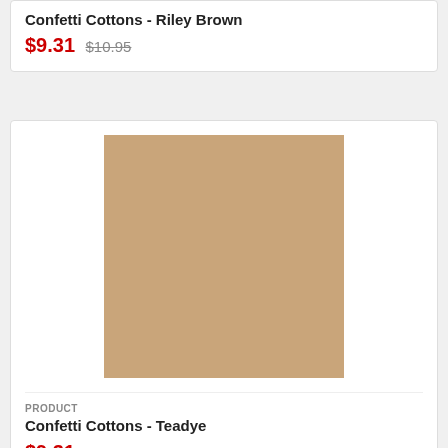Confetti Cottons - Riley Brown
$9.31 $10.95
[Figure (photo): Solid tan/beige colored fabric swatch for Confetti Cottons - Teadye product]
PRODUCT
Confetti Cottons - Teadye
$9.31 $10.95